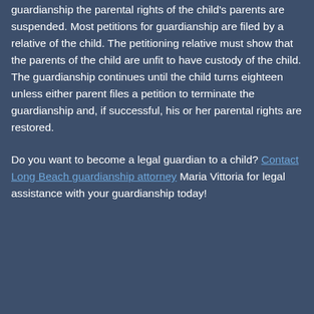guardianship the parental rights of the child's parents are suspended. Most petitions for guardianship are filed by a relative of the child. The petitioning relative must show that the parents of the child are unfit to have custody of the child. The guardianship continues until the child turns eighteen unless either parent files a petition to terminate the guardianship and, if successful, his or her parental rights are restored.
Do you want to become a legal guardian to a child? Contact Long Beach guardianship attorney Maria Vittoria for legal assistance with your guardianship today!